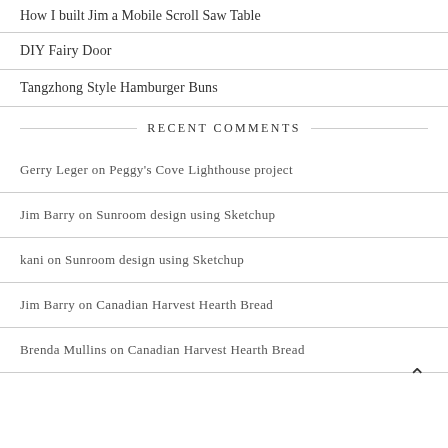How I built Jim a Mobile Scroll Saw Table
DIY Fairy Door
Tangzhong Style Hamburger Buns
RECENT COMMENTS
Gerry Leger on Peggy's Cove Lighthouse project
Jim Barry on Sunroom design using Sketchup
kani on Sunroom design using Sketchup
Jim Barry on Canadian Harvest Hearth Bread
Brenda Mullins on Canadian Harvest Hearth Bread